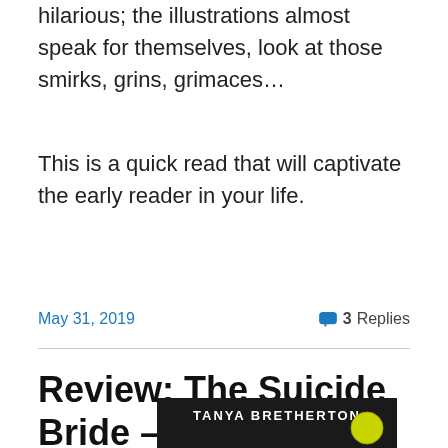hilarious; the illustrations almost speak for themselves, look at those smirks, grins, grimaces…
This is a quick read that will captivate the early reader in your life.
May 31, 2019
3 Replies
Review: The Suicide Bride – Tanya Bretherton
[Figure (photo): Book cover showing 'TANYA BRETHERTON' text on a dark background with a yellow circular badge/seal]